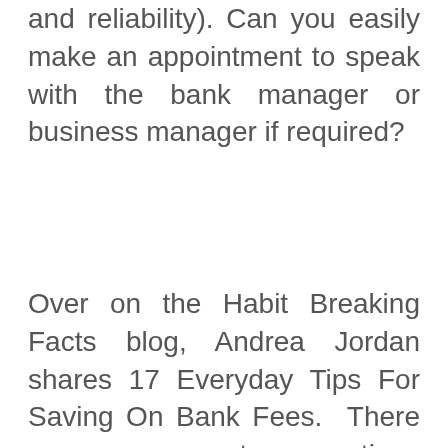and reliability). Can you easily make an appointment to speak with the bank manager or business manager if required?
Over on the Habit Breaking Facts blog, Andrea Jordan shares 17 Everyday Tips For Saving On Bank Fees. There are some great suggestions that are sure to help you manage fees on your personal bank account as well as your business bank account.
Most importantly, compare different accounts with different banks and